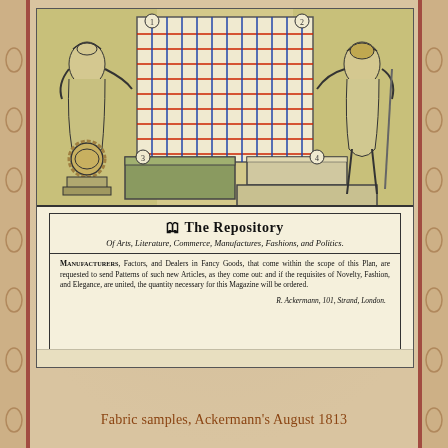[Figure (illustration): Historical engraving showing The Repository of Arts, Literature, Commerce, Manufactures, Fashions, and Politics. Two allegorical figures flank a display of fabric samples in a grid pattern. Below is a decorative text banner with publisher information from R. Ackermann, 101, Strand, London.]
Fabric samples, Ackermann's August 1813